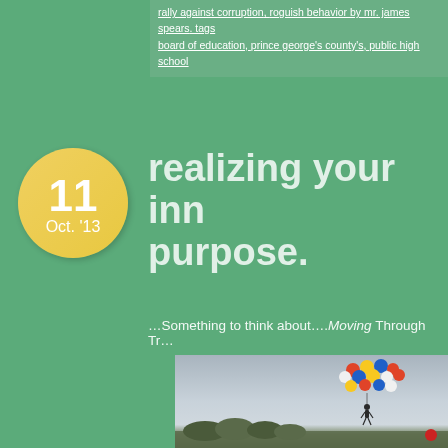rally against corruption, roguish behavior by mr. james spears. tags board of education, prince george's county's, public high school
realizing your inner purpose.
…Something to think about….Moving Through Tr…
[Figure (photo): Person floating in the sky held up by a large cluster of colorful balloons (blue, yellow, orange, white, red), grayscale sky background with green treeline at bottom, small red balloon visible at lower right]